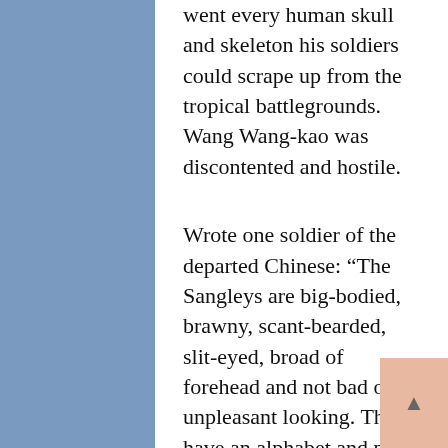went every human skull and skeleton his soldiers could scrape up from the tropical battlegrounds. Wang Wang-kao was discontented and hostile.
Wrote one soldier of the departed Chinese: “The Sangleys are big-bodied, brawny, scant-bearded, slit-eyed, broad of forehead and not bad or unpleasant looking. They have an alphabet and print